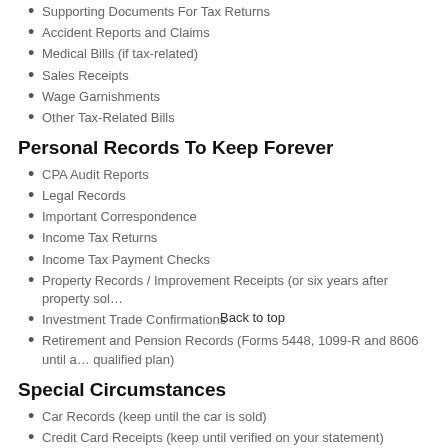Supporting Documents For Tax Returns
Accident Reports and Claims
Medical Bills (if tax-related)
Sales Receipts
Wage Garnishments
Other Tax-Related Bills
Personal Records To Keep Forever
CPA Audit Reports
Legal Records
Important Correspondence
Income Tax Returns
Income Tax Payment Checks
Property Records / Improvement Receipts (or six years after property sol…
Investment Trade Confirmations
Retirement and Pension Records (Forms 5448, 1099-R and 8606 until a… qualified plan)
Special Circumstances
Car Records (keep until the car is sold)
Credit Card Receipts (keep until verified on your statement)
Back to top